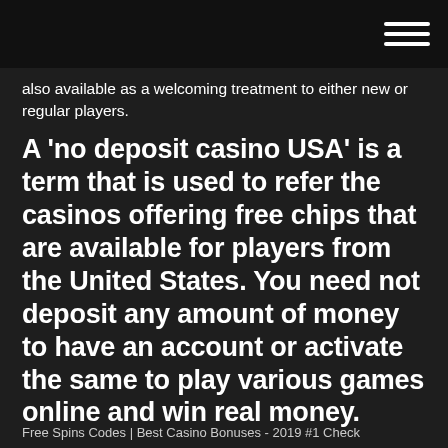[hamburger menu icon]
also available as a welcoming treatment to either new or regular players.
A 'no deposit casino USA' is a term that is used to refer the casinos offering free chips that are available for players from the United States. You need not deposit any amount of money to have an account or activate the same to play various games online and win real money.
Free Spins Codes | Best Casino Bonuses - 2019 #1 Check